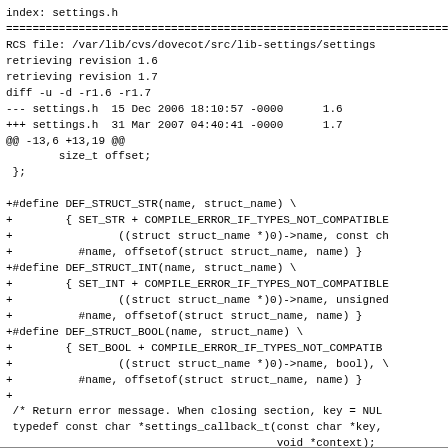index: settings.h
====================================================================
RCS file: /var/lib/cvs/dovecot/src/lib-settings/settings
retrieving revision 1.6
retrieving revision 1.7
diff -u -d -r1.6 -r1.7
--- settings.h  15 Dec 2006 18:10:57 -0000      1.6
+++ settings.h  31 Mar 2007 04:40:41 -0000      1.7
@@ -13,6 +13,19 @@
        size_t offset;
 };

+#define DEF_STRUCT_STR(name, struct_name) \
+        { SET_STR + COMPILE_ERROR_IF_TYPES_NOT_COMPATIBLE
+                ((struct struct_name *)0)->name, const ch
+          #name, offsetof(struct struct_name, name) }
+#define DEF_STRUCT_INT(name, struct_name) \
+        { SET_INT + COMPILE_ERROR_IF_TYPES_NOT_COMPATIBLE
+                ((struct struct_name *)0)->name, unsigned
+          #name, offsetof(struct struct_name, name) }
+#define DEF_STRUCT_BOOL(name, struct_name) \
+        { SET_BOOL + COMPILE_ERROR_IF_TYPES_NOT_COMPATIB
+                ((struct struct_name *)0)->name, bool), \
+          #name, offsetof(struct struct_name, name) }
+
 /* Return error message. When closing section, key = NUL
 typedef const char *settings_callback_t(const char *key,
                                         void *context);